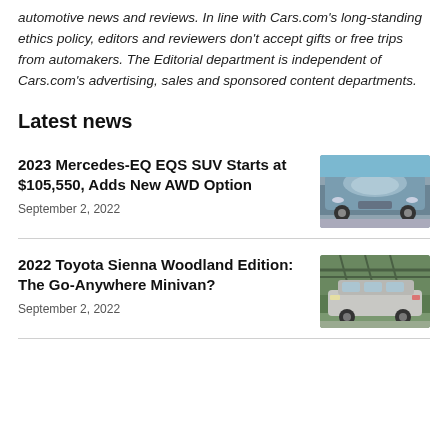automotive news and reviews. In line with Cars.com's long-standing ethics policy, editors and reviewers don't accept gifts or free trips from automakers. The Editorial department is independent of Cars.com's advertising, sales and sponsored content departments.
Latest news
2023 Mercedes-EQ EQS SUV Starts at $105,550, Adds New AWD Option
September 2, 2022
[Figure (photo): Front view of a 2023 Mercedes-EQ EQS SUV driving on a road near water]
2022 Toyota Sienna Woodland Edition: The Go-Anywhere Minivan?
September 2, 2022
[Figure (photo): Side view of a 2022 Toyota Sienna Woodland Edition minivan parked near a bridge]